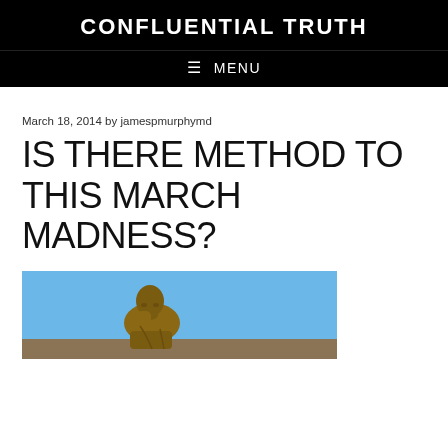CONFLUENTIAL TRUTH
≡ MENU
March 18, 2014 by jamespmurphymd
IS THERE METHOD TO THIS MARCH MADNESS?
[Figure (photo): Bronze statue of a thinker figure against a blue sky background, cropped at bottom of page]